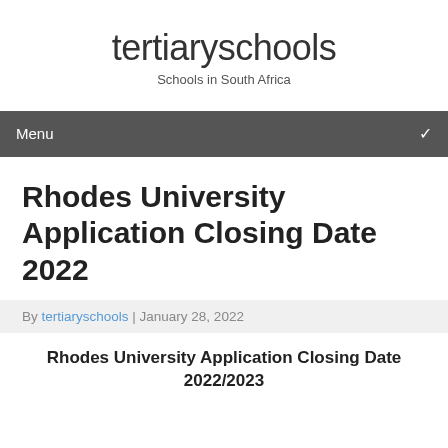tertiaryschools
Schools in South Africa
Menu
Rhodes University Application Closing Date 2022
By tertiaryschools | January 28, 2022
Rhodes University Application Closing Date 2022/2023